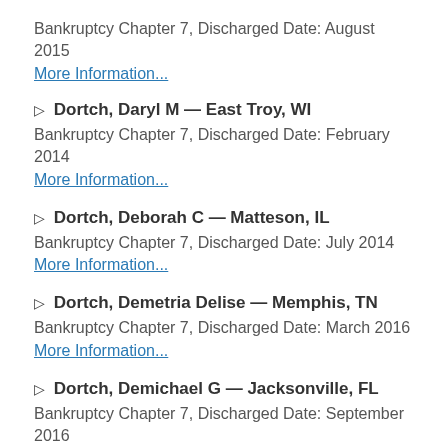Bankruptcy Chapter 7, Discharged Date: August 2015
More Information...
▷ Dortch, Daryl M — East Troy, WI
Bankruptcy Chapter 7, Discharged Date: February 2014
More Information...
▷ Dortch, Deborah C — Matteson, IL
Bankruptcy Chapter 7, Discharged Date: July 2014
More Information...
▷ Dortch, Demetria Delise — Memphis, TN
Bankruptcy Chapter 7, Discharged Date: March 2016
More Information...
▷ Dortch, Demichael G — Jacksonville, FL
Bankruptcy Chapter 7, Discharged Date: September 2016